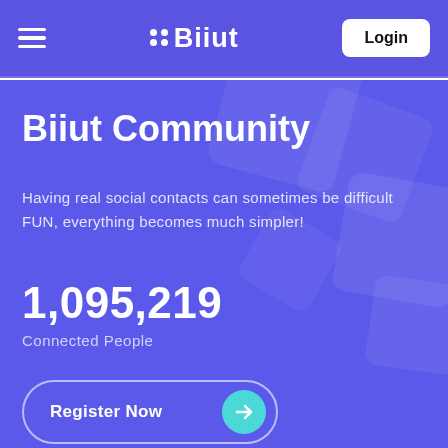Biiut — Navigation bar with hamburger menu, Biiut logo, and Login button
Biiut Community
Having real social contacts can sometimes be difficult FUN, everything becomes much simpler!
1,095,219
Connected People
Register Now